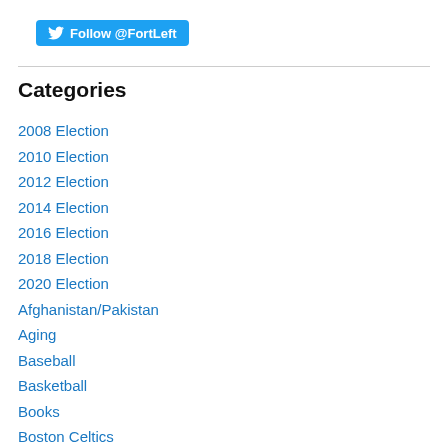[Figure (logo): Twitter Follow button with bird icon and text 'Follow @FortLeft']
Categories
2008 Election
2010 Election
2012 Election
2014 Election
2016 Election
2018 Election
2020 Election
Afghanistan/Pakistan
Aging
Baseball
Basketball
Books
Boston Celtics
Boston Politics
Budget